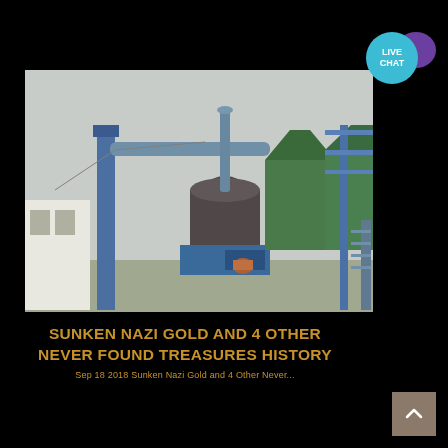[Figure (other): Live Chat button with teal circle and purple speech bubble icon in top right corner]
[Figure (photo): Industrial facility photograph showing large blue and green metal structures, silos, conveyor systems, pipes, and processing equipment at what appears to be a mining or manufacturing plant.]
SUNKEN NAZI GOLD AND 4 OTHER NEVER FOUND TREASURES HISTORY
Sep 18 2018 Sunken Nazi Gold and 4 Other Never...